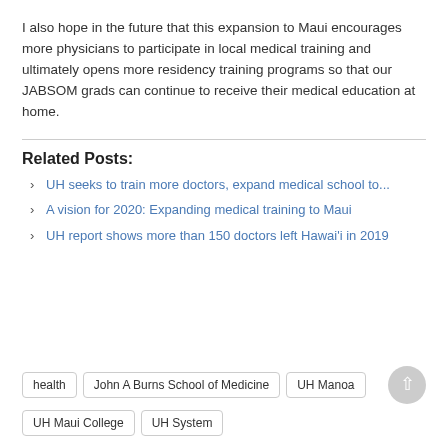I also hope in the future that this expansion to Maui encourages more physicians to participate in local medical training and ultimately opens more residency training programs so that our JABSOM grads can continue to receive their medical education at home.
Related Posts:
UH seeks to train more doctors, expand medical school to...
A vision for 2020: Expanding medical training to Maui
UH report shows more than 150 doctors left Hawai'i in 2019
health | John A Burns School of Medicine | UH Manoa | UH Maui College | UH System